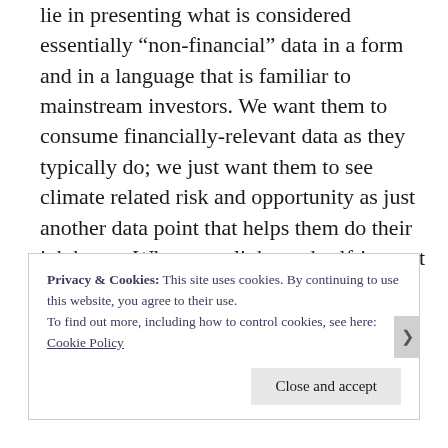lie in presenting what is considered essentially “non-financial” data in a form and in a language that is familiar to mainstream investors. We want them to consume financially-relevant data as they typically do; we just want them to see climate related risk and opportunity as just another data point that helps them do their job better. When unenlightened self-interest becomes a tool in the climate debate, we will have made progress.
Privacy & Cookies: This site uses cookies. By continuing to use this website, you agree to their use.
To find out more, including how to control cookies, see here: Cookie Policy